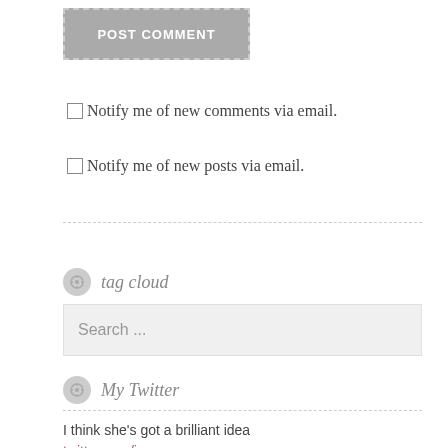[Figure (other): POST COMMENT button with grey background and dashed border]
Notify me of new comments via email.
Notify me of new posts via email.
tag cloud
Search ...
My Twitter
I think she's got a brilliant idea twitter.com/iamyesyouareno... 48 l